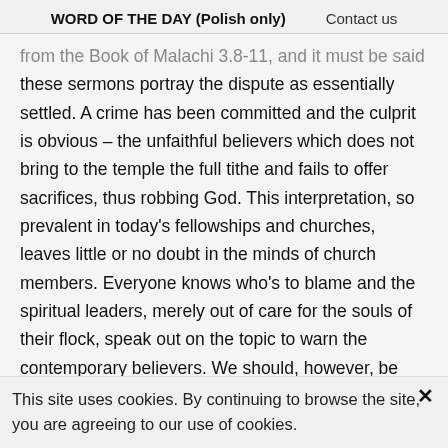WORD OF THE DAY (Polish only)    Contact us
from the Book of Malachi 3.8-11, and it must be said that these sermons portray the dispute as essentially settled. A crime has been committed and the culprit is obvious – the unfaithful believers which does not bring to the temple the full tithe and fails to offer sacrifices, thus robbing God. This interpretation, so prevalent in today's fellowships and churches, leaves little or no doubt in the minds of church members. Everyone knows who's to blame and the spiritual leaders, merely out of care for the souls of their flock, speak out on the topic to warn the contemporary believers. We should, however, be reminded of the basic principle of
This site uses cookies. By continuing to browse the site, you are agreeing to our use of cookies.